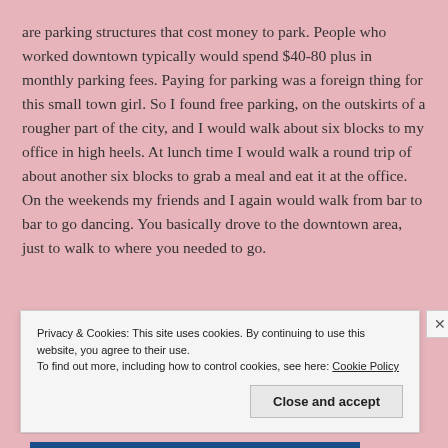are parking structures that cost money to park. People who worked downtown typically would spend $40-80 plus in monthly parking fees. Paying for parking was a foreign thing for this small town girl. So I found free parking, on the outskirts of a rougher part of the city, and I would walk about six blocks to my office in high heels. At lunch time I would walk a round trip of about another six blocks to grab a meal and eat it at the office. On the weekends my friends and I again would walk from bar to bar to go dancing. You basically drove to the downtown area, just to walk to where you needed to go.
Privacy & Cookies: This site uses cookies. By continuing to use this website, you agree to their use.
To find out more, including how to control cookies, see here: Cookie Policy
Close and accept